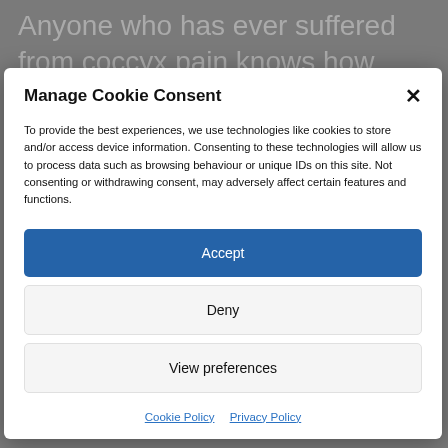Anyone who has ever suffered from coccyx pain knows how debilitating it can be. Even simple activities like sitting down or standing
Manage Cookie Consent
To provide the best experiences, we use technologies like cookies to store and/or access device information. Consenting to these technologies will allow us to process data such as browsing behaviour or unique IDs on this site. Not consenting or withdrawing consent, may adversely affect certain features and functions.
Accept
Deny
View preferences
Cookie Policy  Privacy Policy